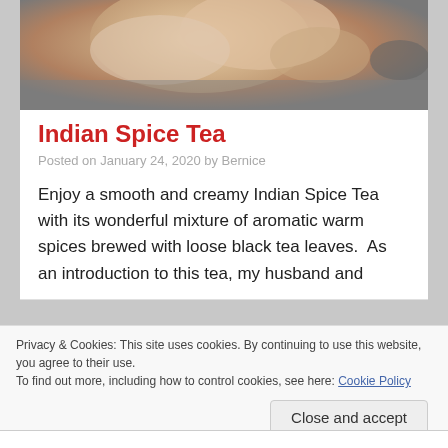[Figure (photo): Close-up photo of creamy Indian Spice Tea in a cup, showing warm brown tones]
Indian Spice Tea
Posted on January 24, 2020 by Bernice
Enjoy a smooth and creamy Indian Spice Tea with its wonderful mixture of aromatic warm spices brewed with loose black tea leaves.  As an introduction to this tea, my husband and
Privacy & Cookies: This site uses cookies. By continuing to use this website, you agree to their use.
To find out more, including how to control cookies, see here: Cookie Policy
Close and accept